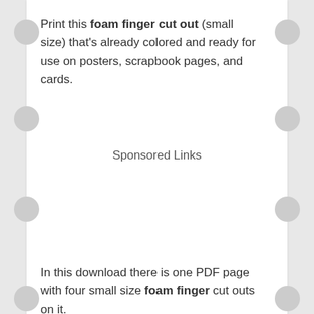Print this foam finger cut out (small size) that's already colored and ready for use on posters, scrapbook pages, and cards.
Sponsored Links
In this download there is one PDF page with four small size foam finger cut outs on it.